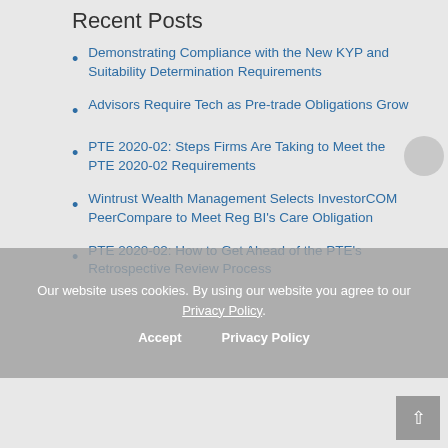Recent Posts
Demonstrating Compliance with the New KYP and Suitability Determination Requirements
Advisors Require Tech as Pre-trade Obligations Grow
PTE 2020-02: Steps Firms Are Taking to Meet the PTE 2020-02 Requirements
Wintrust Wealth Management Selects InvestorCOM PeerCompare to Meet Reg BI's Care Obligation
PTE 2020-02: How to Get Ahead of the PTE's Retrospective Review Process
Our website uses cookies. By using our website you agree to our Privacy Policy.
Accept    Privacy Policy